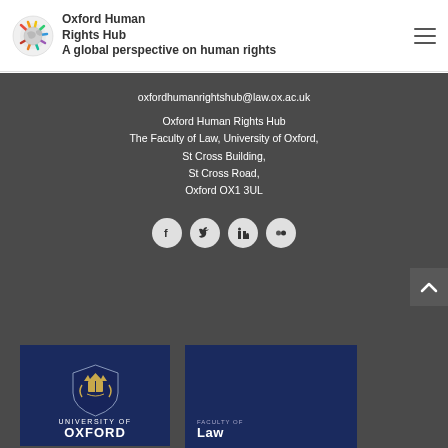Oxford Human Rights Hub — A global perspective on human rights
oxfordhumanrightshub@law.ox.ac.uk
Oxford Human Rights Hub
The Faculty of Law, University of Oxford,
St Cross Building,
St Cross Road,
Oxford OX1 3UL
[Figure (other): Social media icons: Facebook, Twitter, LinkedIn, Flickr]
[Figure (logo): University of Oxford logo — dark navy background with Oxford crest and 'UNIVERSITY OF OXFORD' text]
[Figure (logo): Faculty of Law logo — dark navy background with 'FACULTY OF LAW' text]